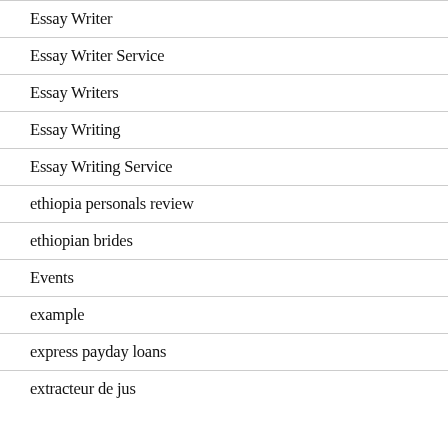Essay Writer
Essay Writer Service
Essay Writers
Essay Writing
Essay Writing Service
ethiopia personals review
ethiopian brides
Events
example
express payday loans
extracteur de jus